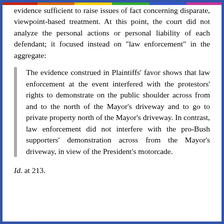evidence sufficient to raise issues of fact concerning disparate, viewpoint-based treatment. At this point, the court did not analyze the personal actions or personal liability of each defendant; it focused instead on "law enforcement" in the aggregate:
The evidence construed in Plaintiffs' favor shows that law enforcement at the event interfered with the protestors' rights to demonstrate on the public shoulder across from and to the north of the Mayor's driveway and to go to private property north of the Mayor's driveway. In contrast, law enforcement did not interfere with the pro-Bush supporters' demonstration across from the Mayor's driveway, in view of the President's motorcade.
Id. at 213.